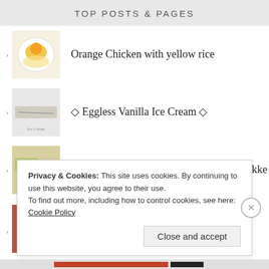TOP POSTS & PAGES
Orange Chicken with yellow rice
◇ Eggless Vanilla Ice Cream ◇
Bitter Gourd & Ivy Gourd Chilly Fry / Sukke
THE SISTERHOOD OF THE WORLD BLOGGERS AWARD
Privacy & Cookies: This site uses cookies. By continuing to use this website, you agree to their use.
To find out more, including how to control cookies, see here: Cookie Policy